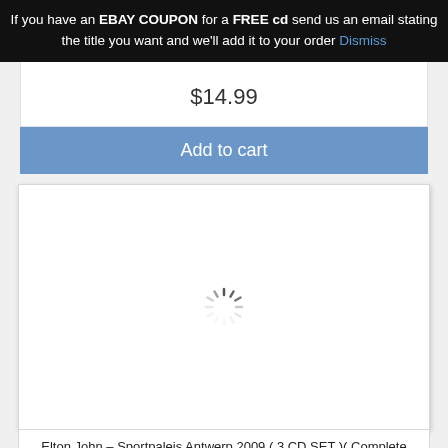If you have an EBAY COUPON for a FREE cd send us an email stating the title you want and we'll add it to your order Dismiss
$14.99
Add to cart
[Figure (other): Product image loading spinner (animated loading indicator) inside a white bordered box]
Elton John – Sportpaleis Antwerp 2009 ( 3 CD SET )( Complete